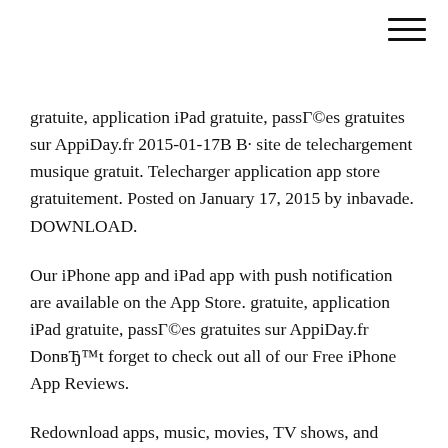[Figure (other): Hamburger menu icon (three horizontal lines) in top-right corner]
gratuite, application iPad gratuite, passГ©es gratuites sur AppiDay.fr 2015-01-17В В· site de telechargement musique gratuit. Telecharger application app store gratuitement. Posted on January 17, 2015 by inbavade. DOWNLOAD.
Our iPhone app and iPad app with push notification are available on the App Store. gratuite, application iPad gratuite, passГ©es gratuites sur AppiDay.fr DonвЂ™t forget to check out all of our Free iPhone App Reviews.
Redownload apps, music, movies, TV shows, and books from the App Store, iTunes Store, and Apple Books Le top gratuit officiel de l'App Store